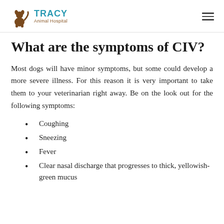Tracy Animal Hospital
What are the symptoms of CIV?
Most dogs will have minor symptoms, but some could develop a more severe illness. For this reason it is very important to take them to your veterinarian right away. Be on the look out for the following symptoms:
Coughing
Sneezing
Fever
Clear nasal discharge that progresses to thick, yellowish-green mucus